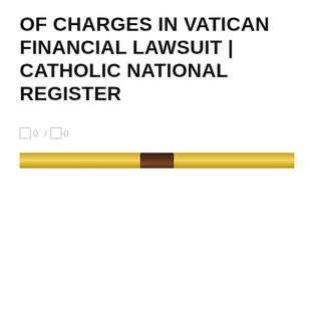OF CHARGES IN VATICAN FINANCIAL LAWSUIT | CATHOLIC NATIONAL REGISTER
0 / 0
[Figure (photo): A narrow horizontal strip image showing a golden/gold-colored bar with a dark figure visible in the center, likely a cropped photograph related to the Vatican financial lawsuit article.]